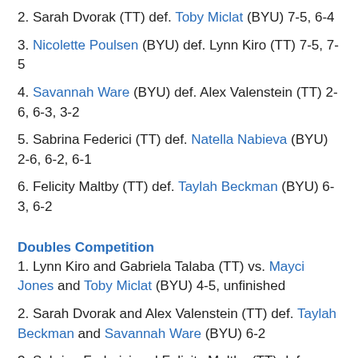2. Sarah Dvorak (TT) def. Toby Miclat (BYU) 7-5, 6-4
3. Nicolette Poulsen (BYU) def. Lynn Kiro (TT) 7-5, 7-5
4. Savannah Ware (BYU) def. Alex Valenstein (TT) 2-6, 6-3, 3-2
5. Sabrina Federici (TT) def. Natella Nabieva (BYU) 2-6, 6-2, 6-1
6. Felicity Maltby (TT) def. Taylah Beckman (BYU) 6-3, 6-2
Doubles Competition
1. Lynn Kiro and Gabriela Talaba (TT) vs. Mayci Jones and Toby Miclat (BYU) 4-5, unfinished
2. Sarah Dvorak and Alex Valenstein (TT) def. Taylah Beckman and Savannah Ware (BYU) 6-2
3. Sabrina Federici and Felicity Maltby (TT) def. Natella